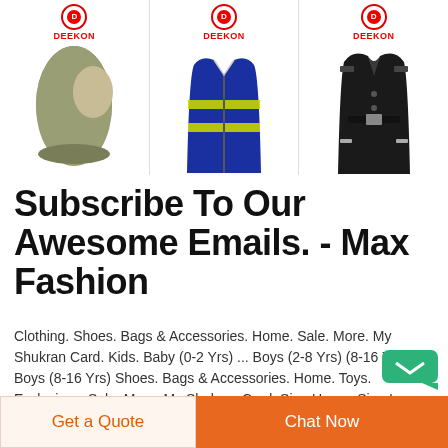[Figure (photo): Three product images from DEEKON brand: a khaki balaclava/ski mask hat, a navy blue reflective safety vest, and a black long coat/uniform jacket, each with DEEKON logo above]
Subscribe To Our Awesome Emails. - Max Fashion
Clothing. Shoes. Bags & Accessories. Home. Sale. More. My Shukran Card. Kids. Baby (0-2 Yrs) ... Boys (2-8 Yrs) (8-16 Yrs) Boys (8-16 Yrs) Shoes. Bags & Accessories. Home. Toys. Exclusives. Sale. More. My Shukran Card. Sign Up. or. Sign In. Basket. Shop Women. Shop Men. Shop Kids. Subscribe to our awesome emails r.
[Figure (screenshot): Green chat button overlay in bottom right]
Get a Quote
Chat Now